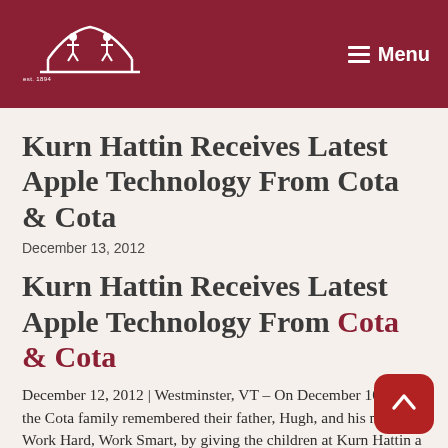Kurn Hattin Homes for Children — Menu
Kurn Hattin Receives Latest Apple Technology From Cota & Cota
December 13, 2012
Kurn Hattin Receives Latest Apple Technology From Cota & Cota
December 12, 2012 | Westminster, VT – On December 10, 2012, the Cota family remembered their father, Hugh, and his motto, Work Hard, Work Smart, by giving the children at Kurn Hattin a donation of six iPad Minis all with the inscription, Transforming the lives of children and their families, one dream at a time.